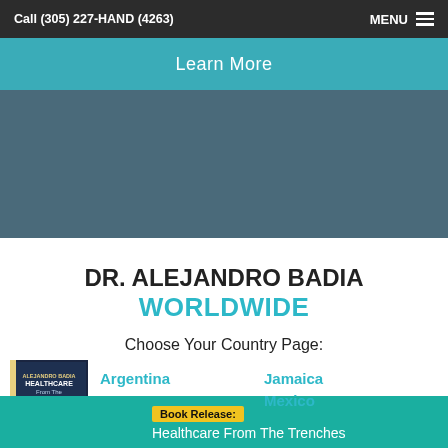Call (305) 227-HAND (4263)
Learn More
DR. ALEJANDRO BADIA WORLDWIDE
Choose Your Country Page:
Argentina
Jamaica
[Figure (photo): Book cover: Healthcare From The Trenches]
Book Release: Healthcare From The Trenches